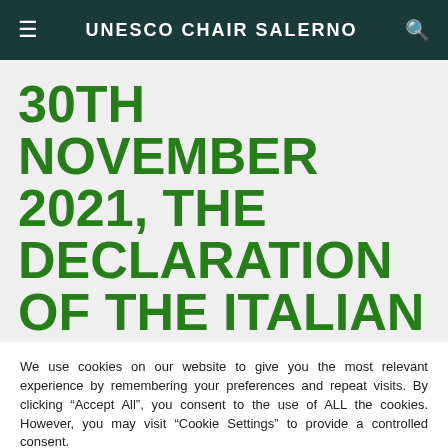UNESCO CHAIR SALERNO
30TH NOVEMBER 2021, THE DECLARATION OF THE ITALIAN
We use cookies on our website to give you the most relevant experience by remembering your preferences and repeat visits. By clicking "Accept All", you consent to the use of ALL the cookies. However, you may visit "Cookie Settings" to provide a controlled consent.
Cookie Settings | Accept All